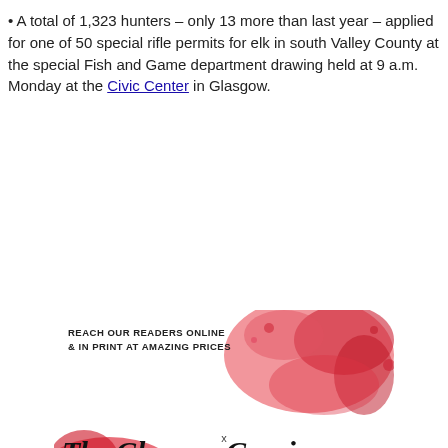• A total of 1,323 hunters – only 13 more than last year – applied for one of 50 special rifle permits for elk in south Valley County at the special Fish and Game department drawing held at 9 a.m. Monday at the Civic Center in Glasgow.
[Figure (illustration): Advertisement banner for The Glasgow Courier newspaper with red watercolor ink splatter background, text reading 'REACH OUR READERS ONLINE & IN PRINT AT AMAZING PRICES' and newspaper name 'The Glasgow Courier' in gothic/blackletter font.]
x